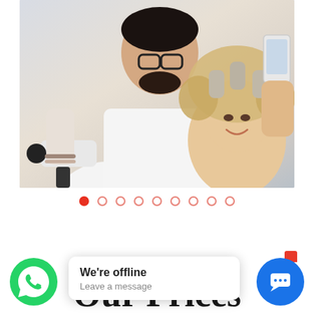[Figure (photo): A male hairstylist with glasses and beard blowdrying the hair of a smiling blonde woman who is taking a selfie with a phone, in a hair salon setting]
[Figure (infographic): Slideshow navigation dots: 9 dots in a row, first dot filled red/active, rest are outlined in coral/pink]
[Figure (other): Chat popup overlay: WhatsApp green phone icon on the left, a white speech bubble popup saying 'We're offline / Leave a message', and a blue round chat button with chat icon on the right]
Our Prices